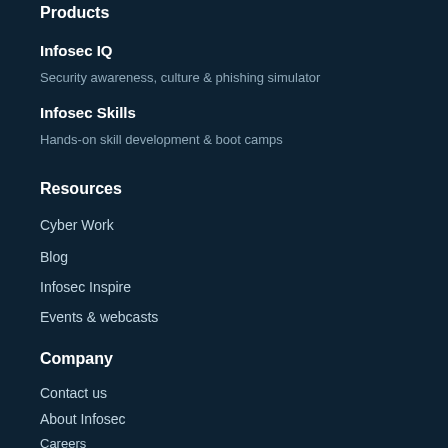Products
Infosec IQ
Security awareness, culture & phishing simulator
Infosec Skills
Hands-on skill development & boot camps
Resources
Cyber Work
Blog
Infosec Inspire
Events & webcasts
Company
Contact us
About Infosec
Careers
Newsroom
Partners